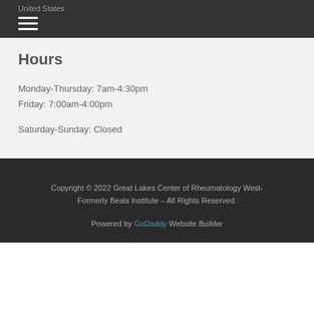United States
Hours
Monday-Thursday: 7am-4:30pm
Friday: 7:00am-4:00pm
Saturday-Sunday: Closed
Copyright © 2022 Great Lakes Center of Rheumatology West- Formerly Beals Institute – All Rights Reserved.
Powered by GoDaddy Website Builder